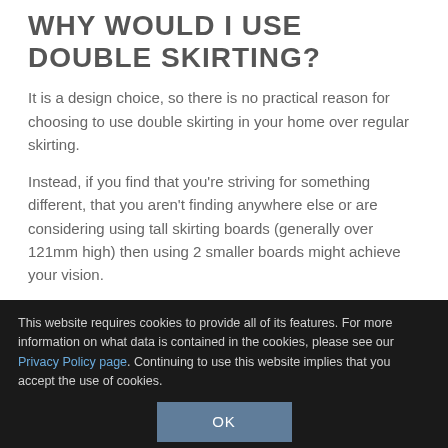WHY WOULD I USE DOUBLE SKIRTING?
It is a design choice, so there is no practical reason for choosing to use double skirting in your home over regular skirting.
Instead, if you find that you're striving for something different, that you aren't finding anywhere else or are considering using tall skirting boards (generally over 121mm high) then using 2 smaller boards might achieve your vision.
Also, from a creative point of view it's an area of interior design that is new and is looking for iconic images. Perhaps
This website requires cookies to provide all of its features. For more information on what data is contained in the cookies, please see our Privacy Policy page. Continuing to use this website implies that you accept the use of cookies.